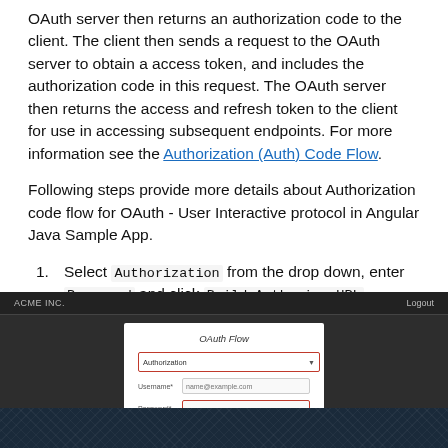OAuth server then returns an authorization code to the client. The client then sends a request to the OAuth server to obtain a access token, and includes the authorization code in this request. The OAuth server then returns the access and refresh token to the client for use in accessing subsequent endpoints. For more information see the Authorization (Auth) Code Flow.
Following steps provide more details about Authorization code flow for OAuth - User Interactive protocol in Angular Java Sample App.
1. Select Authorization from the drop down, enter Password and click Build Authorize URL.
[Figure (screenshot): Screenshot of a web application showing an OAuth Flow form with fields for Authorization (selected, red border), Username (pre-filled), and Password (red border), on a dark grey background.]